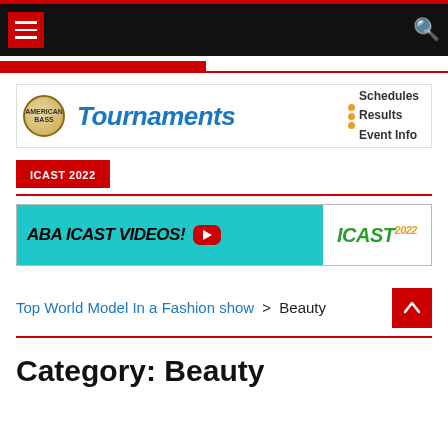Navigation bar with hamburger menu and search icon
[Figure (infographic): Tournaments banner: American Bass logo, 'Tournaments' text in blue italic, bullet points listing Schedules, Results, Event Info]
ICAST 2022
[Figure (infographic): ABA ICAST VIDEOS! banner with YouTube play button and ICAST 2022 logo on teal/white background]
Top World Model In a Fashion show > Beauty
Category: Beauty